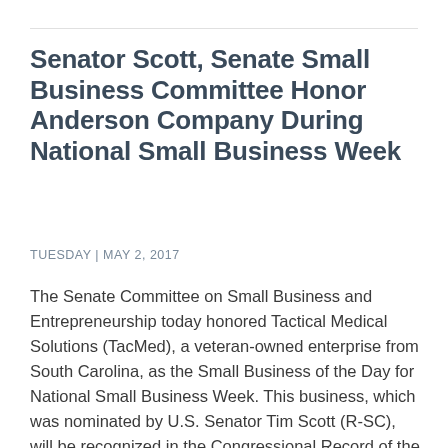Senator Scott, Senate Small Business Committee Honor Anderson Company During National Small Business Week
TUESDAY | MAY 2, 2017
The Senate Committee on Small Business and Entrepreneurship today honored Tactical Medical Solutions (TacMed), a veteran-owned enterprise from South Carolina, as the Small Business of the Day for National Small Business Week. This business, which was nominated by U.S. Senator Tim Scott (R-SC), will be recognized in the Congressional Record of the U.S. Senate. … Continue Reading